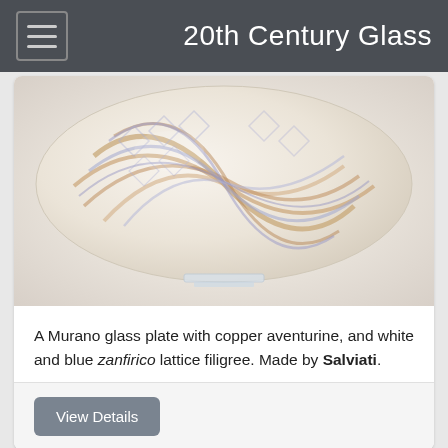20th Century Glass
[Figure (photo): A Murano glass plate with copper aventurine, white and blue zanfirico lattice filigree swirl pattern on a white background, placed on a clear glass stand]
A Murano glass plate with copper aventurine, and white and blue zanfirico lattice filigree. Made by Salviati.
View Details
[Figure (photo): Bottom portion of another glass item with pink and multicolored aventurine decoration on a dark background]